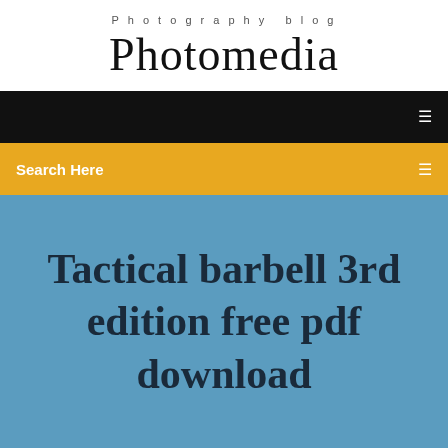Photography blog
Photomedia
Search Here
Tactical barbell 3rd edition free pdf download